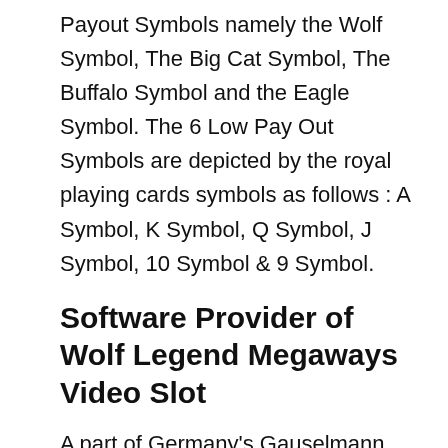Payout Symbols namely the Wolf Symbol, The Big Cat Symbol, The Buffalo Symbol and the Eagle Symbol. The 6 Low Pay Out Symbols are depicted by the royal playing cards symbols as follows : A Symbol, K Symbol, Q Symbol, J Symbol, 10 Symbol & 9 Symbol.
Software Provider of Wolf Legend Megaways Video Slot
A part of Germany's Gauselmann Group, 'Blueprint Gaming' is the software provider that created this magnificent slot game 'Wolf Legend Megaways'. The provider mainly focuses on creating new and existing slot games for the online as well as the mobile market.
Blueprint slots are available over 100,000 land based gaming terminals in countries like the UK, Italy and Germany. Some of them are even on...